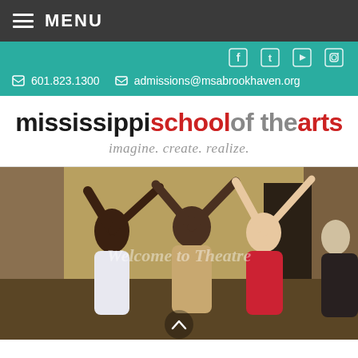MENU
601.823.1300   admissions@msabrookhaven.org
mississippischoolof thearts — imagine. create. realize.
[Figure (photo): Students performing on stage with arms raised, text overlay reading 'Welcome to Theatre']